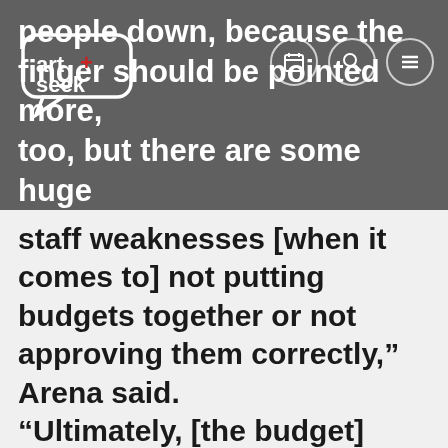art+seek [logo] | navigation icons
people down, because the finger should be pointed more, too, but there are some huge staff weaknesses [when it comes to] not putting budgets together or not approving them correctly,” Arena said. “Ultimately, [the budget] would be the managing director’s job, but we didn’t believe he had the skill set in that job.” …
In a telephone interview, [managing director John]